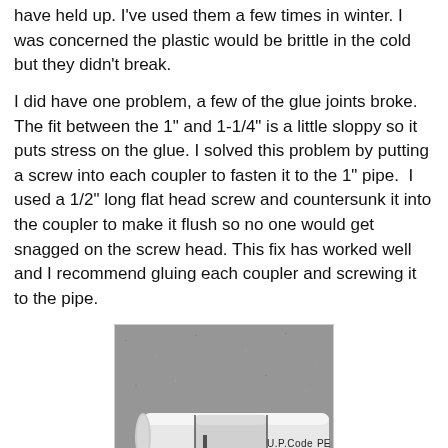have held up. I've used them a few times in winter. I was concerned the plastic would be brittle in the cold but they didn't break.
I did have one problem, a few of the glue joints broke. The fit between the 1" and 1-1/4" is a little sloppy so it puts stress on the glue. I solved this problem by putting a screw into each coupler to fasten it to the 1" pipe.  I used a 1/2" long flat head screw and countersunk it into the coupler to make it flush so no one would get snagged on the screw head. This fix has worked well and I recommend gluing each coupler and screwing it to the pipe.
[Figure (photo): Photo of a white PVC pipe section with a coupler/sleeve around it, lying on a grey concrete surface. The pipe has text printed on it reading: U.P.Code PIPE 1.0" SCH40 PVC]